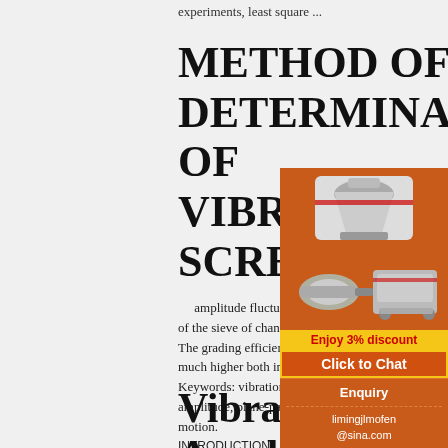experiments, least square ...
METHOD OF DETERMINATION OF VIBRATING SCREENS'
amplitude fluctuations of different size on of the sieve of change of state of the sorted m. The grading efficiency of such screens is expe much higher both in absolute and specific indi Keywords: vibration, screen, sieving surface, amplitude, plane-parallel motion, the equation of motion.
INTRODUCTION
[Figure (photo): Advertisement panel with industrial mining/crushing machinery images on orange background. Shows 'Enjoy 3% discount', 'Click to Chat', 'Enquiry', and 'limingjlmofen@sina.com' text.]
Vibration Amplitude Gauge Helps